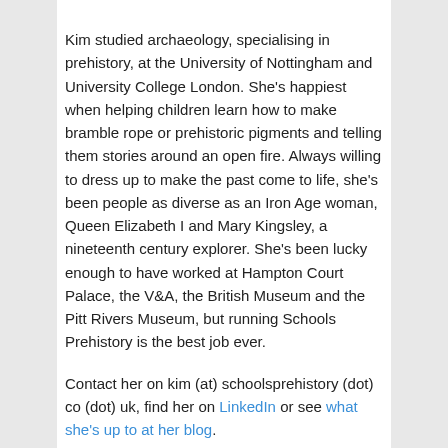Kim studied archaeology, specialising in prehistory, at the University of Nottingham and University College London. She's happiest when helping children learn how to make bramble rope or prehistoric pigments and telling them stories around an open fire. Always willing to dress up to make the past come to life, she's been people as diverse as an Iron Age woman, Queen Elizabeth I and Mary Kingsley, a nineteenth century explorer. She's been lucky enough to have worked at Hampton Court Palace, the V&A, the British Museum and the Pitt Rivers Museum, but running Schools Prehistory is the best job ever.
Contact her on kim (at) schoolsprehistory (dot) co (dot) uk, find her on LinkedIn or see what she's up to at her blog.
Giles Carey (Webmaster)
[Figure (photo): Black and white photo of a person, partially visible, with dark background]